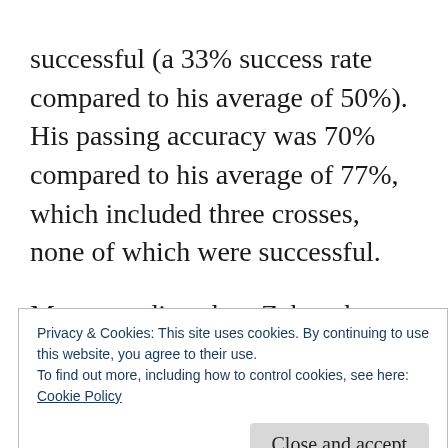successful (a 33% success rate compared to his average of 50%). His passing accuracy was 70% compared to his average of 77%, which included three crosses, none of which were successful.
Many pundits adore Zaha when he’s good, and at the Albion we know to our cost how good he can be. But this was the other side of him, ineffectual, impatient and petulant. Montoya had him under control all game and even when
Privacy & Cookies: This site uses cookies. By continuing to use this website, you agree to their use.
To find out more, including how to control cookies, see here:
Cookie Policy
Close and accept
He did create one good moment when one of